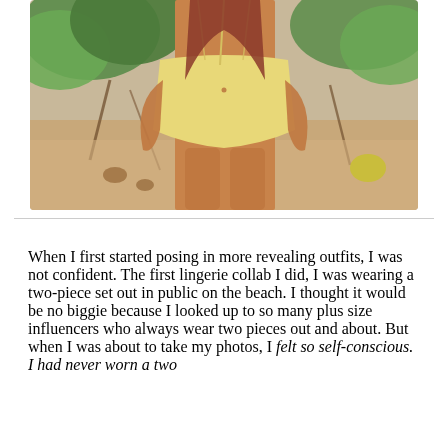[Figure (photo): A person wearing a yellow ribbed bikini bottom standing on a sandy beach with green tropical foliage in the background. The photo shows the torso and legs of the person from approximately waist to knees.]
When I first started posing in more revealing outfits, I was not confident. The first lingerie collab I did, I was wearing a two-piece set out in public on the beach. I thought it would be no biggie because I looked up to so many plus size influencers who always wear two pieces out and about. But when I was about to take my photos, I felt so self-conscious. I had never worn a two...